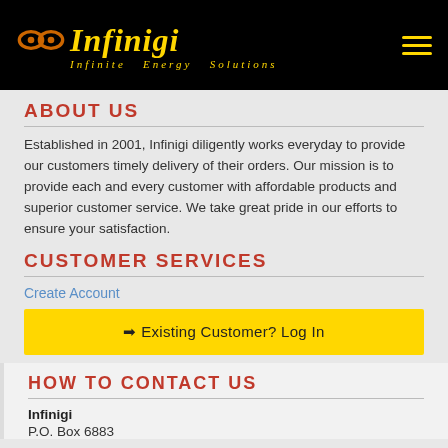[Figure (logo): Infinigi logo with infinity symbol in orange/gold on black background, gold italic text 'Infinigi', tagline 'Infinite Energy Solutions']
ABOUT US
Established in 2001, Infinigi diligently works everyday to provide our customers timely delivery of their orders. Our mission is to provide each and every customer with affordable products and superior customer service. We take great pride in our efforts to ensure your satisfaction.
CUSTOMER SERVICES
Create Account
➡ Existing Customer? Log In
HOW TO CONTACT US
Infinigi
P.O. Box 6883